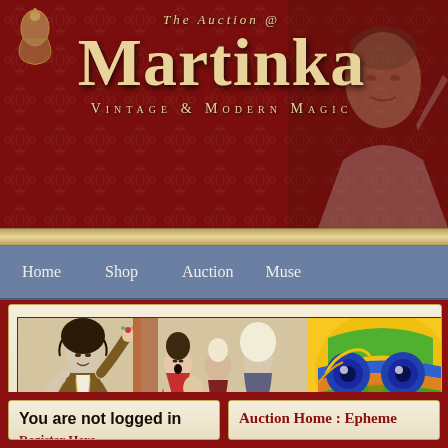[Figure (screenshot): Website header for 'The Auction @ Martinka' with dark red damask background, cream/gold text showing 'THE AUCTION @' above large 'Martinka' title, subtitle 'Vintage & Modern Magic', and a portrait of a man on the right side]
THE AUCTION @ Martinka — Vintage & Modern Magic
[Figure (screenshot): Navigation bar with steel blue background showing menu items: Home, Shop, Auction, Muse(um)]
[Figure (photo): Horizontal banner image showing vintage illustrations of a magician performing for an audience, alongside a colorful decorative mask with blue eyes and green/orange/blue spiral patterns]
You are not logged in
Register Here
Auction Home : Epheme